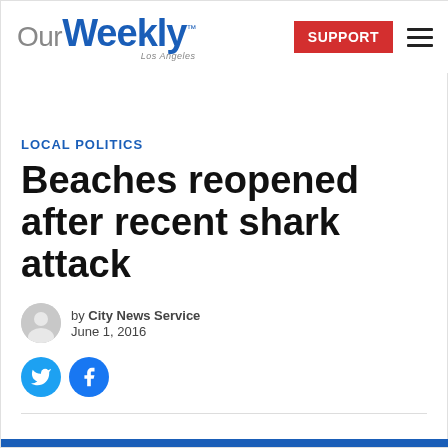Our Weekly Los Angeles — SUPPORT
LOCAL POLITICS
Beaches reopened after recent shark attack
by City News Service
June 1, 2016
[Figure (logo): Twitter and Facebook social share icons]